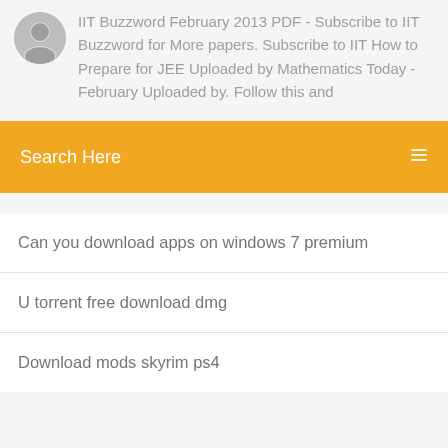IIT Buzzword February 2013 PDF - Subscribe to IIT Buzzword for More papers. Subscribe to IIT How to Prepare for JEE Uploaded by Mathematics Today - February Uploaded by. Follow this and
Search Here
Can you download apps on windows 7 premium
U torrent free download dmg
Download mods skyrim ps4